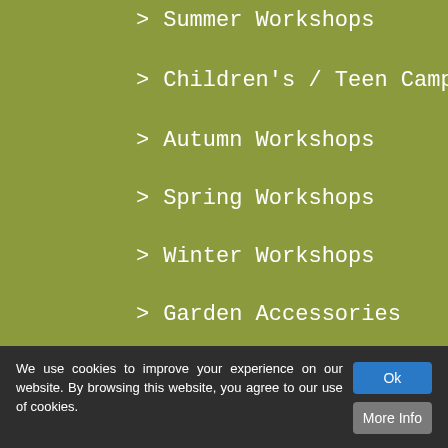> Summer Workshops
> Children's / Teen Camps
> Autumn Workshops
> Spring Workshops
> Winter Workshops
> Garden Accessories
Sign up to our free monthly newsletter
Your Full Name
We use cookies to improve your experience on our website. By browsing this website, you agree to our use of cookies.